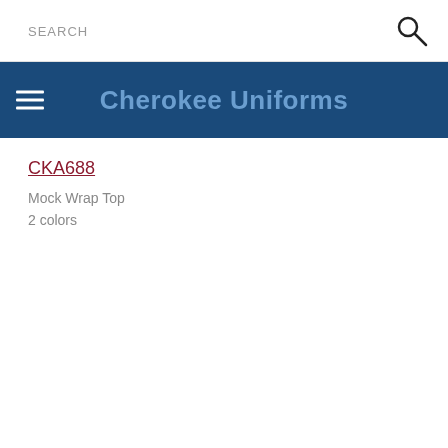SEARCH
Cherokee Uniforms
CKA688
Mock Wrap Top
2 colors